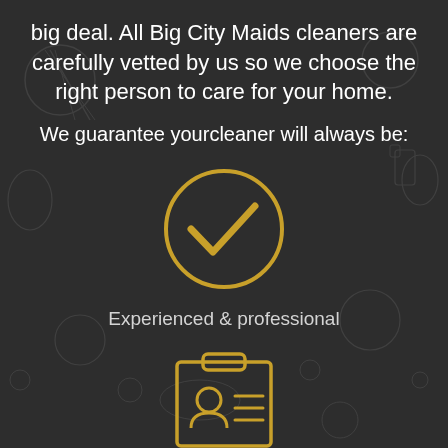big deal. All Big City Maids cleaners are carefully vetted by us so we choose the right person to care for your home.
We guarantee yourcleaner will always be:
[Figure (illustration): Gold circle with a checkmark inside on a dark background]
Experienced & professional
[Figure (illustration): Gold clipboard with ID card/person icon inside, partially visible at bottom]